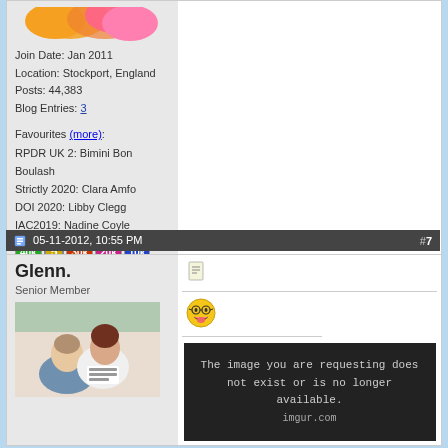Join Date: Jan 2011
Location: Stockport, England
Posts: 44,383
Blog Entries: 3
Favourites (more):
RPDR UK 2: Bimini Bon Boulash
Strictly 2020: Clara Amfo
DOI 2020: Libby Clegg
IAC2019: Nadine Coyle
[Figure (infographic): Award badges row: 40k (green), 5 (yellow/gold), 30k (red), 20k (pink), 10k (blue)]
Total Awards: 5
[Figure (other): Quote button (red)]
05-11-2012, 10:55 PM   #7
Glenn.
Senior Member
[Figure (photo): Profile photo of two people - a man and a woman]
[Figure (other): Emoji: excited face]
The image you are requesting does not exist or is no longer available.
imgur.com